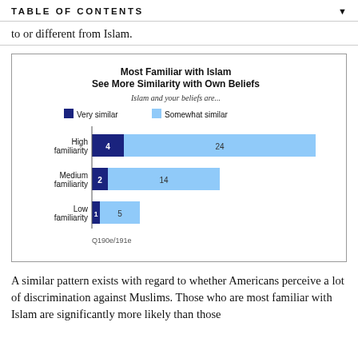TABLE OF CONTENTS
to or different from Islam.
[Figure (grouped-bar-chart): Most Familiar with Islam See More Similarity with Own Beliefs]
A similar pattern exists with regard to whether Americans perceive a lot of discrimination against Muslims. Those who are most familiar with Islam are significantly more likely than those